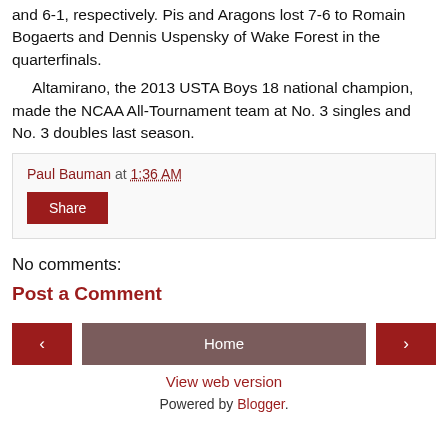and 6-1, respectively. Pis and Aragons lost 7-6 to Romain Bogaerts and Dennis Uspensky of Wake Forest in the quarterfinals.
Altamirano, the 2013 USTA Boys 18 national champion, made the NCAA All-Tournament team at No. 3 singles and No. 3 doubles last season.
Paul Bauman at 1:36 AM
Share
No comments:
Post a Comment
‹ Home ›
View web version
Powered by Blogger.